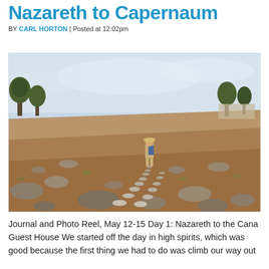Walking the Jesus Trail: Nazareth to Capernaum
BY CARL HORTON | Posted at 12:02pm
[Figure (photo): A hiker with a backpack and hat walks along a rocky ancient trail through dry, scrubby landscape with trees in the background.]
Journal and Photo Reel, May 12-15 Day 1: Nazareth to the Cana Guest House We started off the day in high spirits, which was good because the first thing we had to do was climb our way out